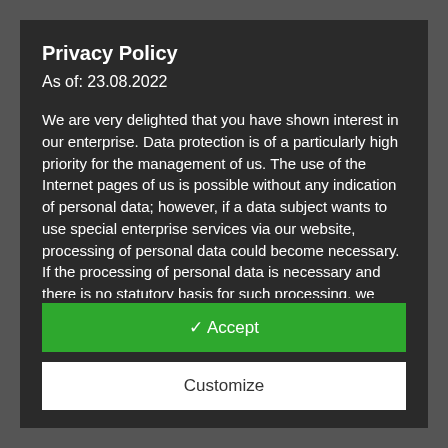Privacy Policy
As of: 23.08.2022
We are very delighted that you have shown interest in our enterprise. Data protection is of a particularly high priority for the management of us. The use of the Internet pages of us is possible without any indication of personal data; however, if a data subject wants to use special enterprise services via our website, processing of personal data could become necessary. If the processing of personal data is necessary and there is no statutory basis for such processing, we generally obtain consent from the data subject.
The processing of personal data, such as the name, address, e-mail address, or telephone number of a data subject shall always be inline with the General Data Protection Regulation
✓ Accept
Customize